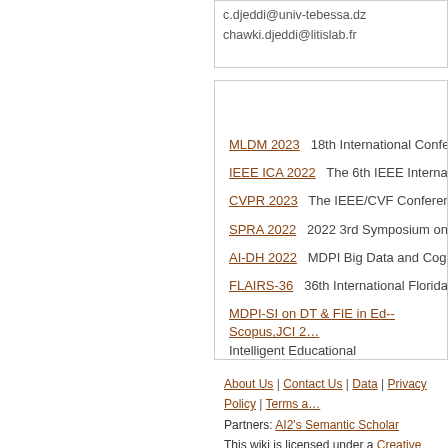c.djeddi@univ-tebessa.dz
chawki.djeddi@litislab.fr
MLDM 2023   18th International Conferenc…
IEEE ICA 2022   The 6th IEEE Internationa…
CVPR 2023   The IEEE/CVF Conference o…
SPRA 2022   2022 3rd Symposium on Pat…
AI-DH 2022   MDPI Big Data and Cognitive…
FLAIRS-36   36th International Florida Arti…
MDPI-SI on DT & FIE in Ed--Scopus,JCI 2… Intelligent Educational Environments
MLDM 2023   19th International Conferenc…
MIIP 2023   Medical Imaging & Image Pro…
EPEAI 2023   AI in Business and Economi…
About Us | Contact Us | Data | Privacy Policy | Terms a… Partners: AI2's Semantic Scholar This wiki is licensed under a Creative Commons Attribu…